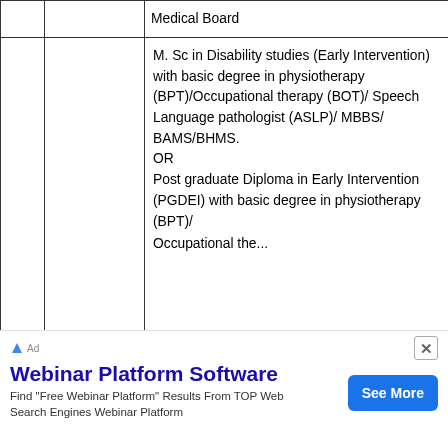|  |  | Qualification |
| --- | --- | --- |
|  |  | Medical Board |
|  |  | M. Sc in Disability studies (Early Intervention) with basic degree in physiotherapy (BPT)/Occupational therapy (BOT)/ Speech Language pathologist (ASLP)/ MBBS/ BAMS/BHMS.
OR
Post graduate Diploma in Early Intervention (PGDEI) with basic degree in physiotherapy (BPT)/ Occupational therapy... |
Webinar Platform Software
Find "Free Webinar Platform" Results From TOP Web Search Engines Webinar Platform